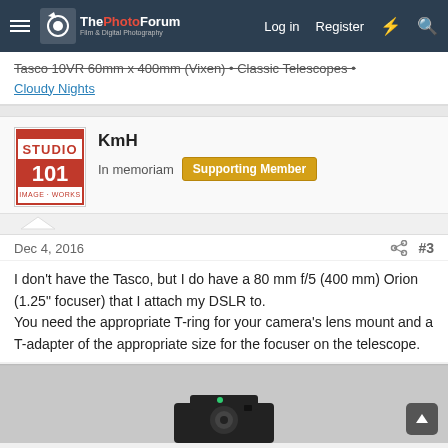ThePhotoForum - Film & Digital Photography | Log in | Register
Tasco 10VR 60mm x 400mm (Vixen) • Classic Telescopes • Cloudy Nights
KmH
In memoriam  Supporting Member
Dec 4, 2016  #3
I don't have the Tasco, but I do have a 80 mm f/5 (400 mm) Orion (1.25" focuser) that I attach my DSLR to.
You need the appropriate T-ring for your camera's lens mount and a T-adapter of the appropriate size for the focuser on the telescope.
[Figure (photo): Photo of a camera/telescope adapter setup on a light gray background, partially visible at bottom of page]